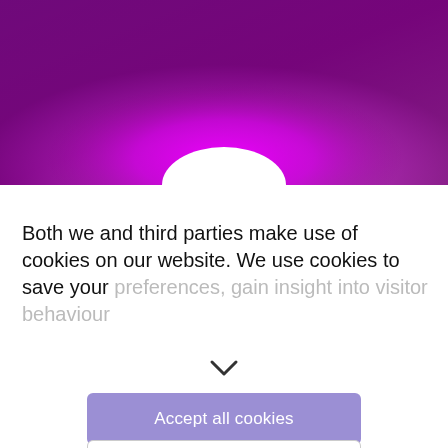[Figure (illustration): Purple/magenta gradient banner image with a bright magenta glow in the center-bottom area, and a white semicircle at the bottom center overlapping the lower edge.]
Both we and third parties make use of cookies on our website. We use cookies to save your preferences, gain insight into visitor behaviour
[Figure (other): A downward-pointing chevron/arrow icon indicating expandable content.]
Accept all cookies
Cookie settings